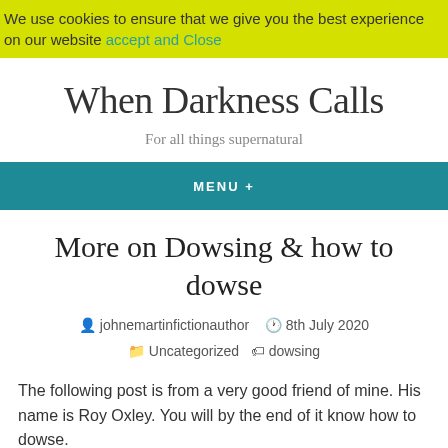We use cookies to ensure that we give you the best experience on our website accept and Close
When Darkness Calls
For all things supernatural
MENU +
More on Dowsing & how to dowse
johnemartinfictionauthor   8th July 2020   Uncategorized   dowsing
The following post is from a very good friend of mine. His name is Roy Oxley. You will by the end of it know how to dowse.